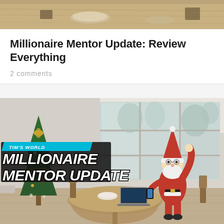[Figure (photo): Top portion of a photo showing a rustic wooden table or surface with some objects, cropped at top]
Millionaire Mentor Update: Review Everything
2 comments
[Figure (photo): A person dressed in a Santa Claus costume standing beside a round table with a laptop, next to a decorated Christmas tree in a bright room with large windows. Overlay text reads 'TIM'S WORLD MILLIONAIRE MENTOR UPDATE']